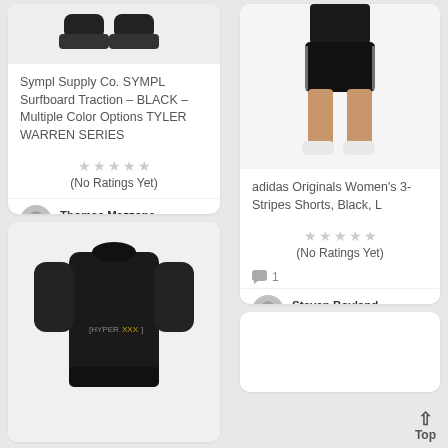[Figure (photo): Partial product image at top of left column showing shoes/feet area of surfboard traction product]
Sympl Supply Co. SYMPL Surfboard Traction – BLACK – Multiple Color Options TYLER WARREN SERIES
(No Ratings Yet)
Thomas Mazzone
Surfboard Tracti...
[Figure (photo): Black wetsuit short-sleeve top with HyperXXX logo]
[Figure (photo): adidas Originals Women's 3-Stripes Shorts in black worn by a model]
adidas Originals Women's 3-Stripes Shorts, Black, L
(No Ratings Yet)
1
Steven Boyland
Shortboards